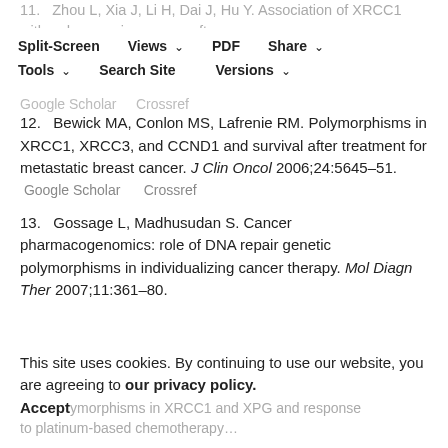11.   Zhou L, Xia J, Li H, Dai J, Hu Y. Association of XRCC1 with a decrease in renal function after radiotherapy in breast cancer patients. Cancer Biother Radiopharm. 2010;25:6… Google Scholar    Crossref
Split-Screen   Views   PDF   Share   Tools   Search Site   Versions
12.   Bewick MA, Conlon MS, Lafrenie RM. Polymorphisms in XRCC1, XRCC3, and CCND1 and survival after treatment for metastatic breast cancer. J Clin Oncol 2006;24:5645–51.
Google Scholar      Crossref
13.   Gossage L, Madhusudan S. Cancer pharmacogenomics: role of DNA repair genetic polymorphisms in individualizing cancer therapy. Mol Diagn Ther 2007;11:361–80.
Google Scholar   Crossref
This site uses cookies. By continuing to use our website, you are agreeing to our privacy policy. Accept
…polymorphisms in XRCC1 and XPG and response to platinum-based chemotherapy…